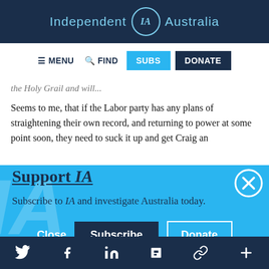Independent IA Australia
MENU  FIND  SUBS  DONATE
the Holy Grail and will...
Seems to me, that if the Labor party has any plans of straightening their own record, and returning to power at some point soon, they need to suck it up and get Craig an
Support IA
Subscribe to IA and investigate Australia today.
Close  Subscribe  Donate
Twitter Facebook LinkedIn Flipboard Link Plus